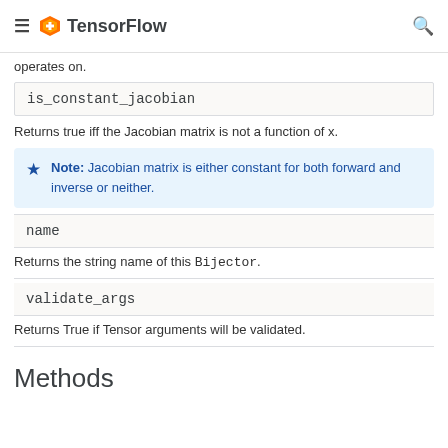TensorFlow
operates on.
| is_constant_jacobian |
| --- |
Returns true iff the Jacobian matrix is not a function of x.
Note: Jacobian matrix is either constant for both forward and inverse or neither.
| name |
| --- |
Returns the string name of this Bijector.
| validate_args |
| --- |
Returns True if Tensor arguments will be validated.
Methods